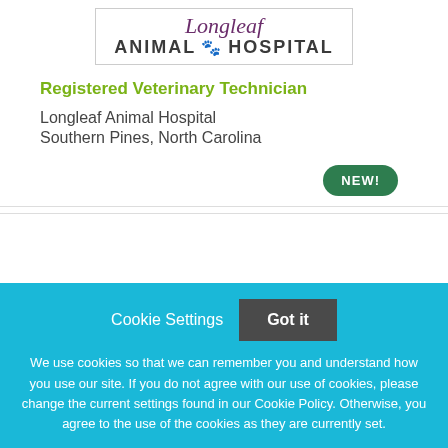[Figure (logo): Longleaf Animal Hospital logo with paw print icon, purple italic script for 'Longleaf' and dark bold text for 'ANIMAL HOSPITAL']
Registered Veterinary Technician
Longleaf Animal Hospital
Southern Pines, North Carolina
NEW!
Cookie Settings  Got it
We use cookies so that we can remember you and understand how you use our site. If you do not agree with our use of cookies, please change the current settings found in our Cookie Policy. Otherwise, you agree to the use of the cookies as they are currently set.